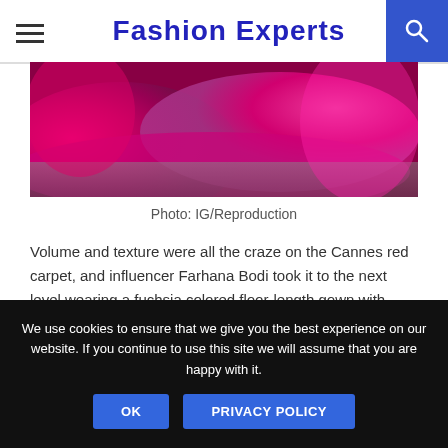Fashion Experts
[Figure (photo): Close-up of a fuchsia/magenta floor-length gown fabric pooled on the ground, showing voluminous fabric with plumage details]
Photo: IG/Reproduction
Volume and texture were all the craze on the Cannes red carpet, and influencer Farhana Bodi took it to the next level wearing a fuchsia colored floor-length gown with train and plumage! Her accessories were provided by Renu Oberoi and hair styled by Ahmad Abou El Saad.
We use cookies to ensure that we give you the best experience on our website. If you continue to use this site we will assume that you are happy with it.